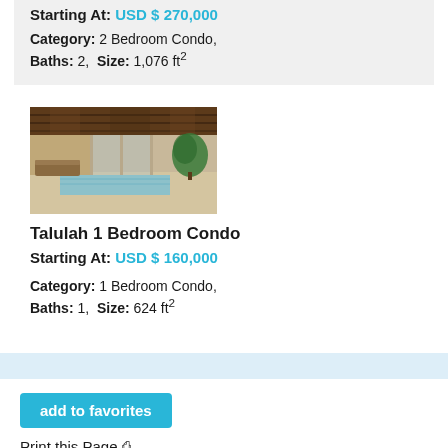Starting At: USD $ 270,000
Category: 2 Bedroom Condo, Baths: 2, Size: 1,076 ft²
[Figure (photo): Interior photo of a modern condo with large glass sliding doors, wood ceiling, pool area, and lush greenery]
Talulah 1 Bedroom Condo
Starting At: USD $ 160,000
Category: 1 Bedroom Condo, Baths: 1, Size: 624 ft²
add to favorites
Print this Page 🖨